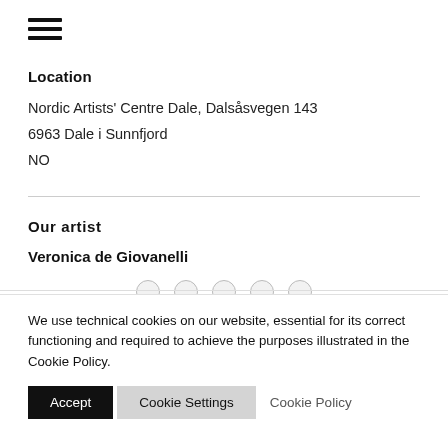[Figure (other): Hamburger menu icon (three horizontal lines)]
Location
Nordic Artists' Centre Dale, Dalsåsvegen 143
6963 Dale i Sunnfjord
NO
Our artist
Veronica de Giovanelli
We use technical cookies on our website, essential for its correct functioning and required to achieve the purposes illustrated in the Cookie Policy.
Accept   Cookie Settings   Cookie Policy